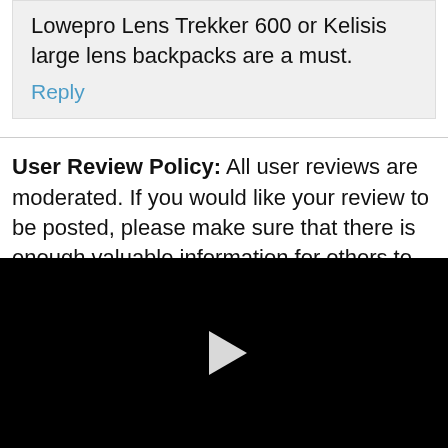Lowepro Lens Trekker 600 or Kelisis large lens backpacks are a must.
Reply
User Review Policy: All user reviews are moderated. If you would like your review to be posted, please make sure that there is enough valuable information for others to read. Two or three word reviews will be deleted. Also,
[Figure (screenshot): Black video player area with a white play button triangle in the center]